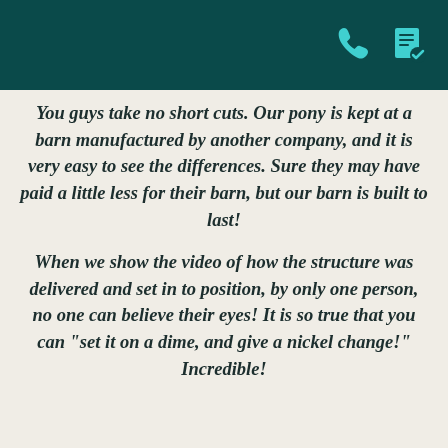[phone icon] [document icon]
You guys take no short cuts. Our pony is kept at a barn manufactured by another company, and it is very easy to see the differences. Sure they may have paid a little less for their barn, but our barn is built to last!
When we show the video of how the structure was delivered and set in to position, by only one person, no one can believe their eyes! It is so true that you can "set it on a dime, and give a nickel change!" Incredible!